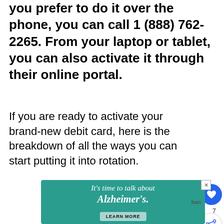you prefer to do it over the phone, you can call 1 (888) 762-2265. From your laptop or tablet, you can also activate it through their online portal.
If you are ready to activate your brand-new debit card, here is the breakdown of all the ways you can start putting it into rotation.
[Figure (other): Advertisement banner with teal background reading "It's time to talk about Alzheimer's." with a LEARN MORE button. Also shows a heart/like button with count 7 and a share button on the right side.]